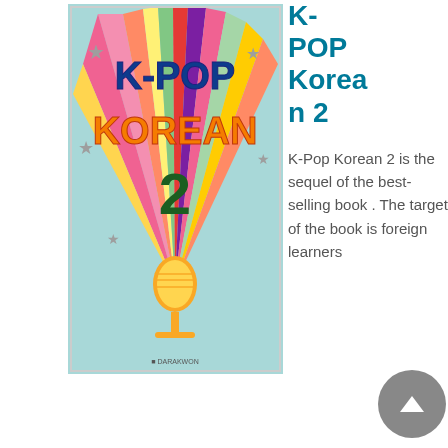[Figure (illustration): Book cover of K-POP KOREAN 2 featuring colorful sunburst rays, stars, and a golden microphone on a light teal background with bold text 'K-POP KOREAN 2']
K-POP Korean 2
K-Pop Korean 2 is the sequel of the best-selling book . The target of the book is foreign learners